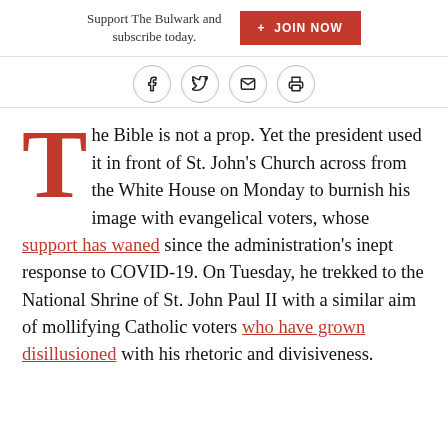Support The Bulwark and subscribe today.  + JOIN NOW
[Figure (other): Social sharing icons: Facebook, Twitter, Email, Print — four circular icon buttons]
The Bible is not a prop. Yet the president used it in front of St. John's Church across from the White House on Monday to burnish his image with evangelical voters, whose support has waned since the administration's inept response to COVID-19. On Tuesday, he trekked to the National Shrine of St. John Paul II with a similar aim of mollifying Catholic voters who have grown disillusioned with his rhetoric and divisiveness.